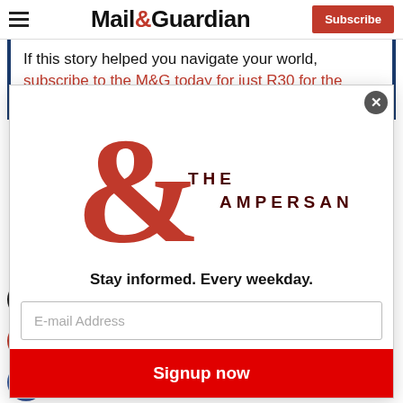Mail&Guardian | Subscribe
If this story helped you navigate your world, subscribe to the M&G today for just R30 for the first three months.
[Figure (logo): The Ampersand newsletter logo — large red ampersand with 'THE AMPERSAND' text]
Stay informed. Every weekday.
E-mail Address
Signup now